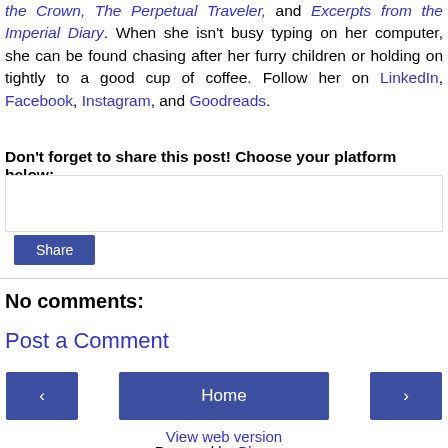the Crown, The Perpetual Traveler, and Excerpts from the Imperial Diary. When she isn't busy typing on her computer, she can be found chasing after her furry children or holding on tightly to a good cup of coffee. Follow her on LinkedIn, Facebook, Instagram, and Goodreads.
Don't forget to share this post! Choose your platform below:
[Figure (other): Share widget area with a Share button]
No comments:
Post a Comment
[Figure (other): Navigation buttons: previous (‹), Home, next (›)]
View web version
Powered by Blogger.